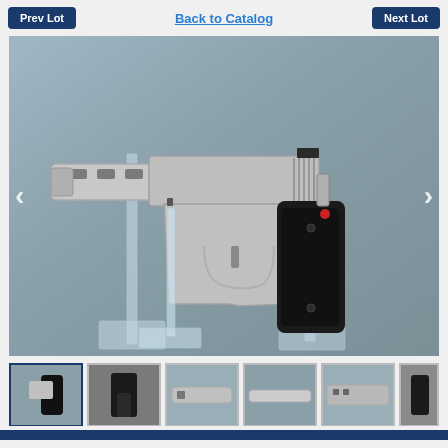Prev Lot | Back to Catalog | Next Lot
[Figure (photo): Side profile of a stainless/silver semi-automatic pistol with black grip, ported barrel shroud, and adjustable rear sight, displayed on clear acrylic stands against a gray background. Navigation arrows (< >) on left and right sides.]
[Figure (photo): Thumbnail 1: Front/grip angle of the same silver pistol with black grip]
[Figure (photo): Thumbnail 2: Close-up of grip and magazine area]
[Figure (photo): Thumbnail 3: Left side of barrel/slide close-up]
[Figure (photo): Thumbnail 4: Underside or barrel detail]
[Figure (photo): Thumbnail 5: Another angle of the pistol]
[Figure (photo): Thumbnail 6 (partial): Partially visible thumbnail]